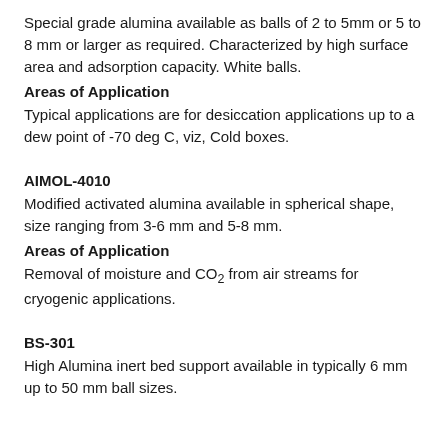Special grade alumina available as balls of 2 to 5mm or 5 to 8 mm or larger as required. Characterized by high surface area and adsorption capacity. White balls.
Areas of Application
Typical applications are for desiccation applications up to a dew point of -70 deg C, viz, Cold boxes.
AIMOL-4010
Modified activated alumina available in spherical shape, size ranging from 3-6 mm and 5-8 mm.
Areas of Application
Removal of moisture and CO₂ from air streams for cryogenic applications.
BS-301
High Alumina inert bed support available in typically 6 mm up to 50 mm ball sizes.